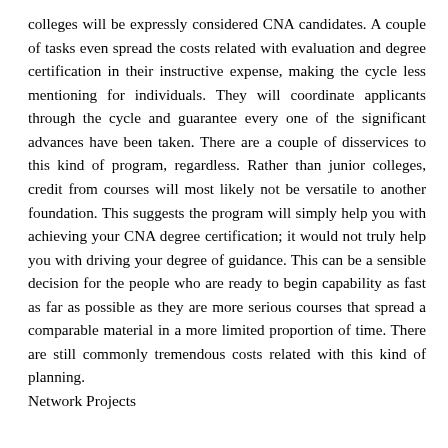colleges will be expressly considered CNA candidates. A couple of tasks even spread the costs related with evaluation and degree certification in their instructive expense, making the cycle less mentioning for individuals. They will coordinate applicants through the cycle and guarantee every one of the significant advances have been taken. There are a couple of disservices to this kind of program, regardless. Rather than junior colleges, credit from courses will most likely not be versatile to another foundation. This suggests the program will simply help you with achieving your CNA degree certification; it would not truly help you with driving your degree of guidance. This can be a sensible decision for the people who are ready to begin capability as fast as far as possible as they are more serious courses that spread a comparable material in a more limited proportion of time. There are still commonly tremendous costs related with this kind of planning.
Network Projects